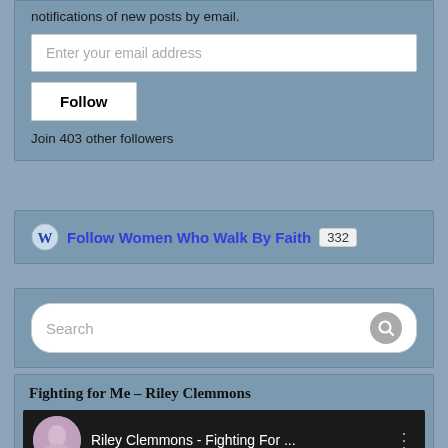notifications of new posts by email.
Enter your email address
Follow
Join 403 other followers
Follow Women Who Walk By Faith 332
Search
Fighting for Me – Riley Clemmons
[Figure (screenshot): YouTube video thumbnail showing Riley Clemmons - Fighting For... with avatar and menu dots]